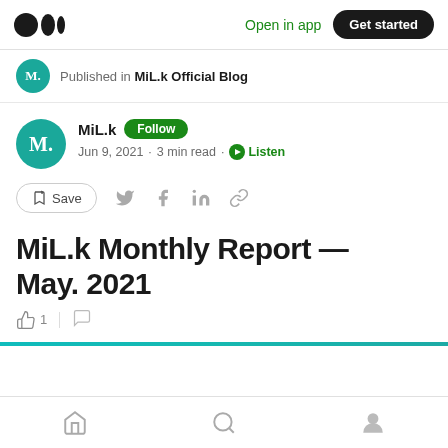Open in app  Get started
Published in MiL.k Official Blog
MiL.k  Follow
Jun 9, 2021 · 3 min read · Listen
Save
MiL.k Monthly Report — May. 2021
Home  Search  Profile